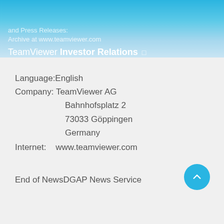and Press Releases
Archive at www.teamviewer.com
TeamViewer Investor Relations
Language:English
Company: TeamViewer AG
         Bahnhofsplatz 2
         73033 Göppingen
         Germany
Internet:   www.teamviewer.com
End of NewsDGAP News Service